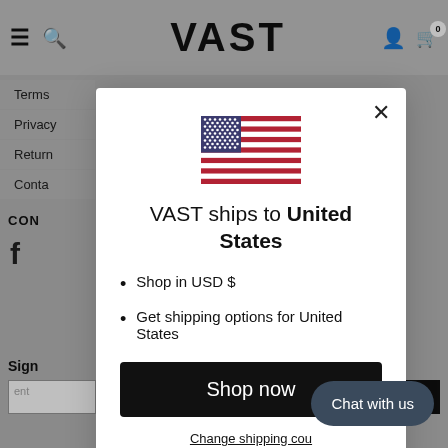VAST
Terms
Privacy
Return
Contact
[Figure (illustration): US flag illustration inside modal dialog]
VAST ships to United States
Shop in USD $
Get shipping options for United States
Shop now
Change shipping country
Chat with us